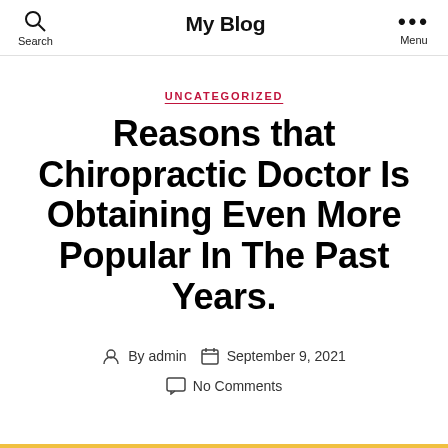My Blog
UNCATEGORIZED
Reasons that Chiropractic Doctor Is Obtaining Even More Popular In The Past Years.
By admin  September 9, 2021
No Comments